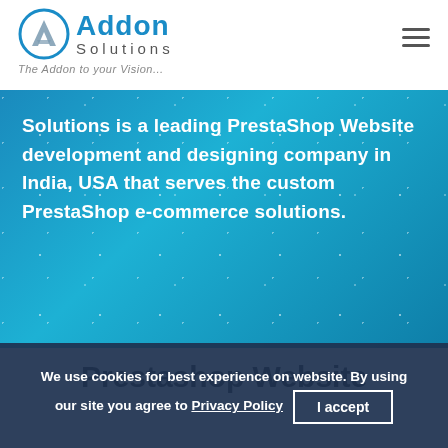[Figure (logo): Addon Solutions logo: circular icon with 'A' mark, 'Addon Solutions' wordmark in blue, tagline 'The Addon to your Vision...' in grey italic]
Solutions is a leading PrestaShop Website development and designing company in India, USA that serves the custom PrestaShop e-commerce solutions.
Prestashop Website
We use cookies for best experience on website. By using our site you agree to Privacy Policy  I accept